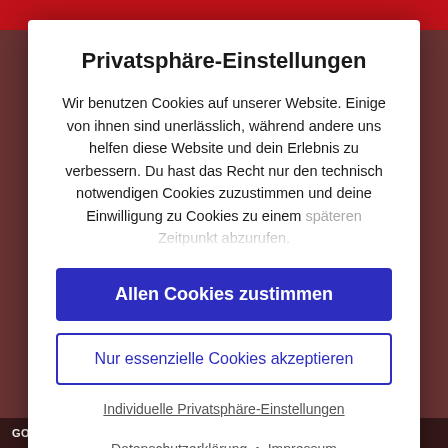[Figure (screenshot): Background of a red-themed website partially visible behind a privacy settings modal dialog with a dimmed overlay.]
Privatsphäre-Einstellungen
Wir benutzen Cookies auf unserer Website. Einige von ihnen sind unerlässlich, während andere uns helfen diese Website und dein Erlebnis zu verbessern. Du hast das Recht nur den technisch notwendigen Cookies zuzustimmen und deine Einwilligung zu Cookies zu einem späteren Zeitpunkt abzurufen.
Allen Cookies zustimmen
Nur essenzielle Cookies akzeptieren
Individuelle Privatsphäre-Einstellungen
Datenschutzerklärung • Impressum
WordPress Cookie Hinweis von Real Cookie Banner
GO FORWARD APPLICATIONS